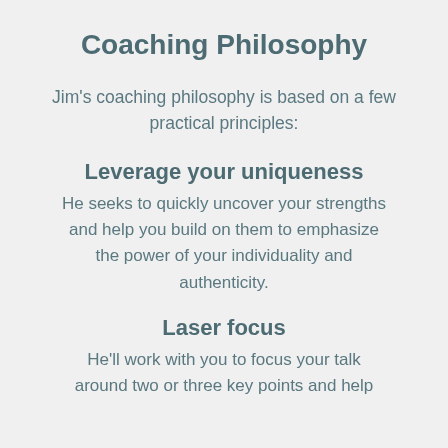Coaching Philosophy
Jim's coaching philosophy is based on a few practical principles:
Leverage your uniqueness
He seeks to quickly uncover your strengths and help you build on them to emphasize the power of your individuality and authenticity.
Laser focus
He'll work with you to focus your talk around two or three key points and help